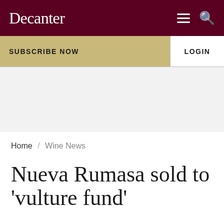Decanter
SUBSCRIBE NOW
LOGIN
[Figure (other): Gray advertisement placeholder area]
Home / Wine News
Nueva Rumasa sold to 'vulture fund'